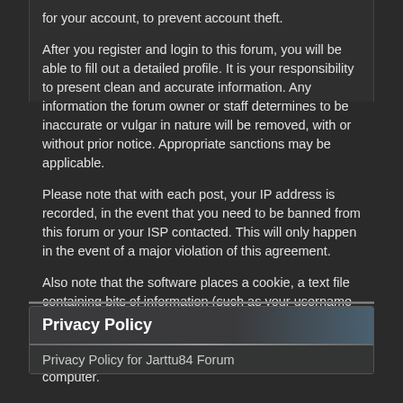for your account, to prevent account theft.
After you register and login to this forum, you will be able to fill out a detailed profile. It is your responsibility to present clean and accurate information. Any information the forum owner or staff determines to be inaccurate or vulgar in nature will be removed, with or without prior notice. Appropriate sanctions may be applicable.
Please note that with each post, your IP address is recorded, in the event that you need to be banned from this forum or your ISP contacted. This will only happen in the event of a major violation of this agreement.
Also note that the software places a cookie, a text file containing bits of information (such as your username and password), in your browser's cache. This is ONLY used to keep you logged in/out. The software does not collect or send any other form of information to your computer.
Privacy Policy
Privacy Policy for Jarttu84 Forum